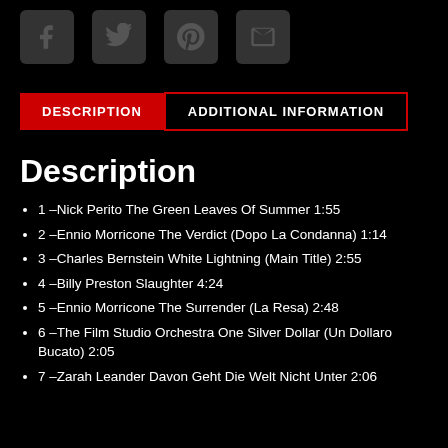[Figure (other): Four social media share icons (Facebook, Twitter, Pinterest, Email) as rounded square buttons on black background]
DESCRIPTION | ADDITIONAL INFORMATION
Description
1 –Nick Perito The Green Leaves Of Summer 1:55
2 –Ennio Morricone The Verdict (Dopo La Condanna) 1:14
3 –Charles Bernstein White Lightning (Main Title) 2:55
4 –Billy Preston Slaughter 4:24
5 –Ennio Morricone The Surrender (La Resa) 2:48
6 –The Film Studio Orchestra One Silver Dollar (Un Dollaro Bucato) 2:05
7 –Zarah Leander Davon Geht Die Welt Nicht Unter 2:06